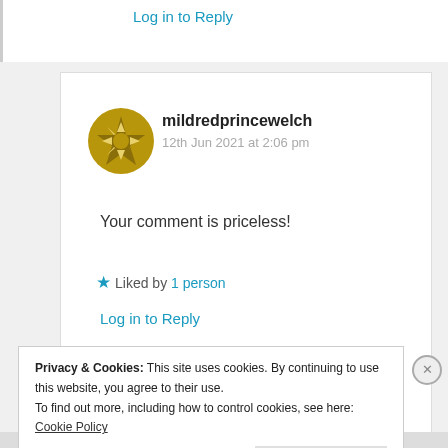Log in to Reply
[Figure (illustration): User avatar for mildredprincewelch: gold/olive circular badge with star and arrow motifs]
mildredprincewelch
12th Jun 2021 at 2:06 pm
Your comment is priceless!
★ Liked by 1 person
Log in to Reply
Privacy & Cookies: This site uses cookies. By continuing to use this website, you agree to their use.
To find out more, including how to control cookies, see here: Cookie Policy
Close and accept